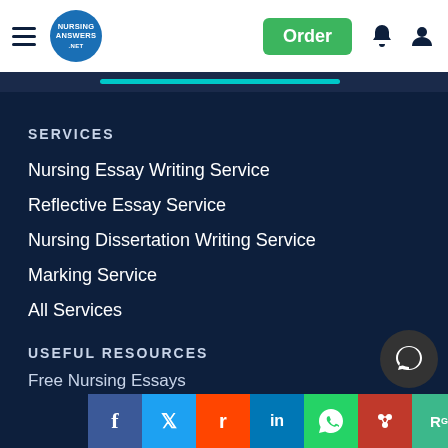Nursing Answers — Header with Order button, bell and user icons
SERVICES
Nursing Essay Writing Service
Reflective Essay Service
Nursing Dissertation Writing Service
Marking Service
All Services
USEFUL RESOURCES
Free Nursing Essays